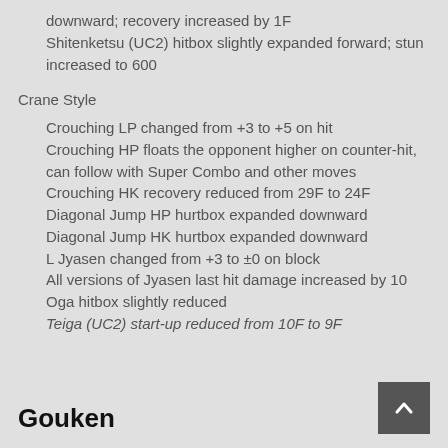downward; recovery increased by 1F
Shitenketsu (UC2) hitbox slightly expanded forward; stun increased to 600
Crane Style
Crouching LP changed from +3 to +5 on hit
Crouching HP floats the opponent higher on counter-hit, can follow with Super Combo and other moves
Crouching HK recovery reduced from 29F to 24F
Diagonal Jump HP hurtbox expanded downward
Diagonal Jump HK hurtbox expanded downward
L Jyasen changed from +3 to ±0 on block
All versions of Jyasen last hit damage increased by 10
Oga hitbox slightly reduced
Teiga (UC2) start-up reduced from 10F to 9F
Gouken